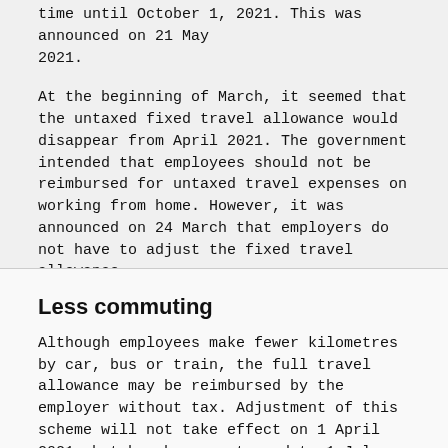time until October 1, 2021. This was announced on 21 May 2021.
At the beginning of March, it seemed that the untaxed fixed travel allowance would disappear from April 2021. The government intended that employees should not be reimbursed for untaxed travel expenses on working from home. However, it was announced on 24 March that employers do not have to adjust the fixed travel allowance.
Less commuting
Although employees make fewer kilometres by car, bus or train, the full travel allowance may be reimbursed by the employer without tax. Adjustment of this scheme will not take effect on 1 April 2021, but has been postponed to 1 July 2021. The condition is and remains that the agreements on this fixed fee were made before 13 March 2020.